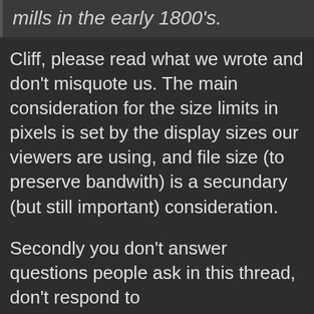mills in the early 1800's.
Cliff, please read what we wrote and don't misquote us. The main consideration for the size limits in pixels is set by the display sizes our viewers are using, and file size (to preserve bandwith) is a secundary (but still important) consideration.
Secondly you don't answer questions people ask in this thread, don't respond to suggestions/remarks we make but just keep harping the same points and then blaming us for not willing to listen, followed by derrogatory/cynical remarks.